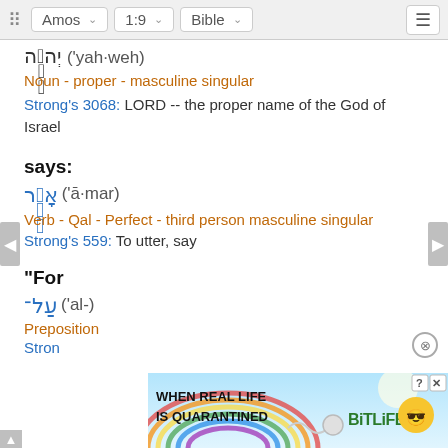Amos 1:9 Bible
יְהוָ֑ה ('yah·weh)
Noun - proper - masculine singular
Strong's 3068: LORD -- the proper name of the God of Israel
says:
אָמַ֥ר ('ā·mar)
Verb - Qal - Perfect - third person masculine singular
Strong's 559: To utter, say
“For
עַל־ ('al-)
Preposition
Stron
[Figure (screenshot): BitLife advertisement banner: 'WHEN REAL LIFE IS QUARANTINED' with BitLife logo and emoji characters, rainbow background]